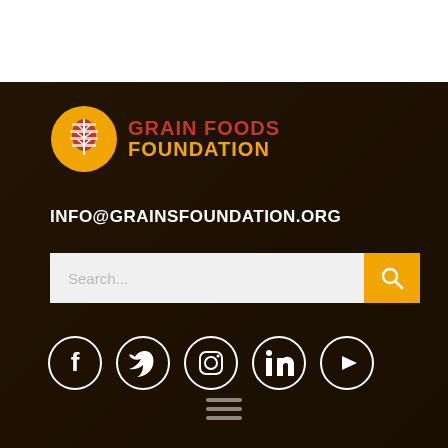[Figure (logo): Grain Foods Foundation logo with wheat icon in yellow circle and red/orange text]
INFO@GRAINSFOUNDATION.ORG
[Figure (other): Search bar with text input and yellow search button with magnifying glass icon]
[Figure (other): Social media icons: Facebook, Twitter, Instagram, LinkedIn, YouTube in circular outlines]
[Figure (other): Hamburger menu icon with three horizontal lines]